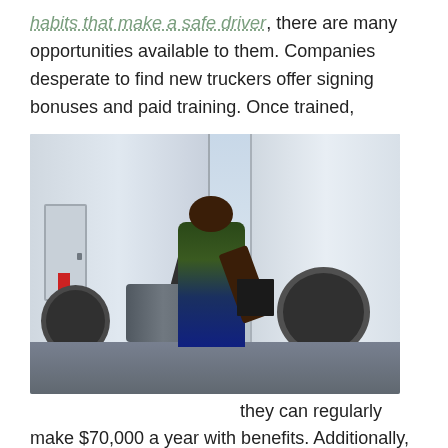habits that make a safe driver, there are many opportunities available to them. Companies desperate to find new truckers offer signing bonuses and paid training. Once trained,
[Figure (photo): A man in a green plaid shirt and jeans standing in front of large semi-truck trailers, smiling and holding a clipboard]
they can regularly make $70,000 a year with benefits. Additionally, drivers work on their own schedule as long as they adhere to the strict safety guidelines. They have autonomy over their work and can spend time on their